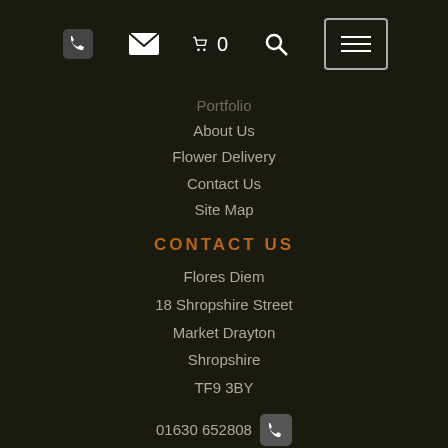Phone | Email | Cart 0 | Search | Menu
Portfolio
About Us
Flower Delivery
Contact Us
Site Map
CONTACT US
Flores Diem
18 Shropshire Street
Market Drayton
Shropshire
TF9 3BY
01630 652808
info@floresdiem.co.uk
VAT No: 382096678
Twitter | Facebook | Pinterest | Instagram
LEGAL